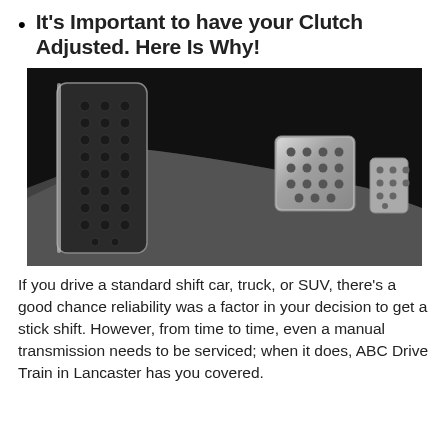It's Important to have your Clutch Adjusted. Here Is Why!
[Figure (photo): Close-up photograph of car pedals in a dark interior — a large clutch pedal on the left with circular rubber studs, and two metallic (brake and accelerator) pedals on the right, with a grey floor mat visible.]
If you drive a standard shift car, truck, or SUV, there's a good chance reliability was a factor in your decision to get a stick shift. However, from time to time, even a manual transmission needs to be serviced; when it does, ABC Drive Train in Lancaster has you covered.